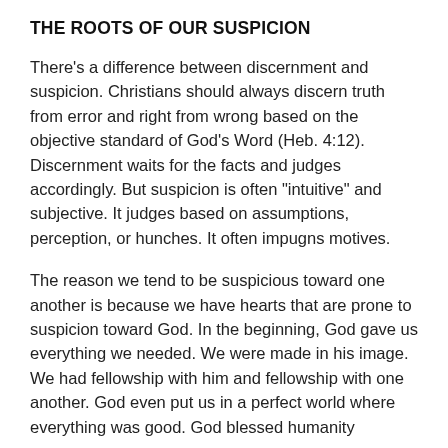THE ROOTS OF OUR SUSPICION
There’s a difference between discernment and suspicion. Christians should always discern truth from error and right from wrong based on the objective standard of God’s Word (Heb. 4:12). Discernment waits for the facts and judges accordingly. But suspicion is often “intuitive” and subjective. It judges based on assumptions, perception, or hunches. It often impugns motives.
The reason we tend to be suspicious toward one another is because we have hearts that are prone to suspicion toward God. In the beginning, God gave us everything we needed. We were made in his image. We had fellowship with him and fellowship with one another. God even put us in a perfect world where everything was good. God blessed humanity